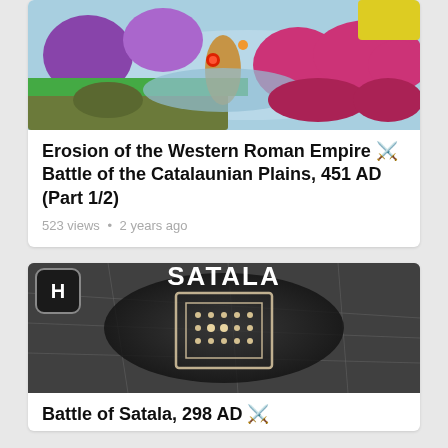[Figure (map): Colorful historical map of the Mediterranean region showing territories of the Western Roman Empire and surrounding areas with regions colored in purple, green, blue, pink, yellow, and olive tones]
Erosion of the Western Roman Empire ⚔ Battle of the Catalaunian Plains, 451 AD (Part 1/2)
523 views • 2 years ago
[Figure (screenshot): Dark grayscale thumbnail showing the word SATALA in large white text with a shield/H logo in the top left, and a map with a highlighted fortified city location in the center]
Battle of Satala, 298 AD ⚔